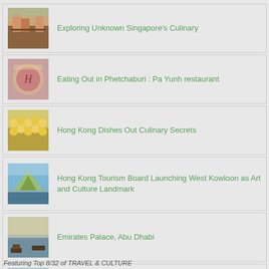Exploring Unknown Singapore's Culinary
Eating Out in Phetchaburi : Pa Yunh restaurant
Hong Kong Dishes Out Culinary Secrets
Hong Kong Tourism Board Launching West Kowloon as Art and Culture Landmark
Emirates Palace, Abu Dhabi
Portofino, Italy
Featuring Top 8/32 of TRAVEL & CULTURE